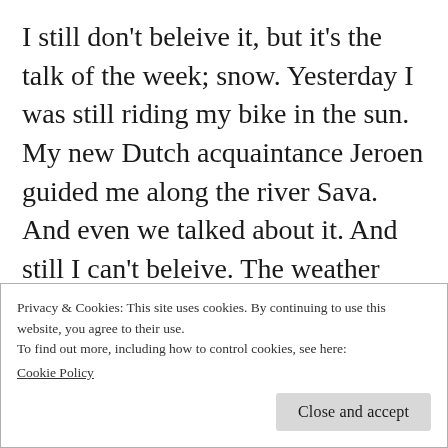I still don't beleive it, but it's the talk of the week; snow. Yesterday I was still riding my bike in the sun. My new Dutch acquaintance Jeroen guided me along the river Sava. And even we talked about it. And still I can't beleive. The weather forecast says tomorrow it will still be a fairly comfortable 15 degrees but sunday all hell will break loose. It will snow all over the country and the temperature wont exceed five degrees Celsius. People say the weather in the Netherlands is changeable but if this prediction
Privacy & Cookies: This site uses cookies. By continuing to use this website, you agree to their use.
To find out more, including how to control cookies, see here: Cookie Policy